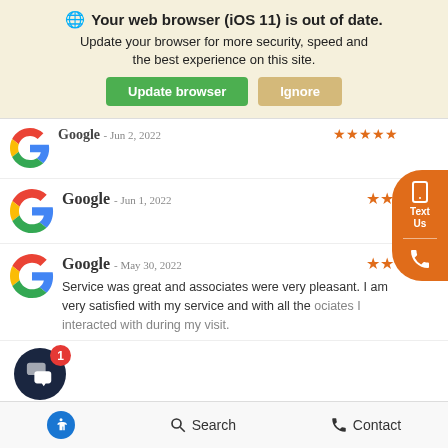[Figure (screenshot): Browser outdated warning banner with globe icon, bold title 'Your web browser (iOS 11) is out of date.', subtitle text, and two buttons: 'Update browser' (green) and 'Ignore' (tan)]
Google - Jun 2, 2022 ★★★★★ (partially visible, top)
Google - Jun 1, 2022 ★★
Google - May 30, 2022 ★★
Service was great and associates were very pleasant. I am very satisfied with my service and with all the associates I interacted with during my visit.
[Figure (infographic): Orange floating 'Text Us' and call widget on right side, dark navy chat bubble with badge '1' on lower left, bottom navigation bar with accessibility icon, Search and Contact options]